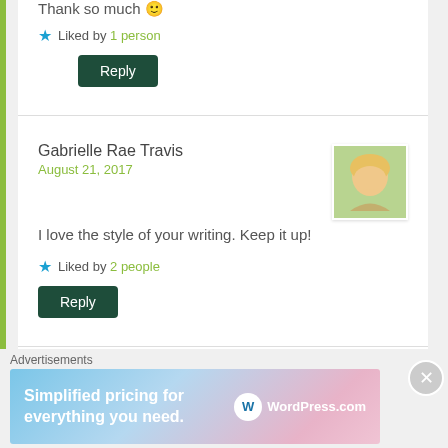Thank so much 🙂
Liked by 1 person
Reply
Gabrielle Rae Travis
August 21, 2017
I love the style of your writing. Keep it up!
Liked by 2 people
Reply
Bri Ollre
August 21, 2017
Advertisements
[Figure (illustration): WordPress.com advertisement banner: 'Simplified pricing for everything you need.' with WordPress.com logo on gradient background (blue to pink)]